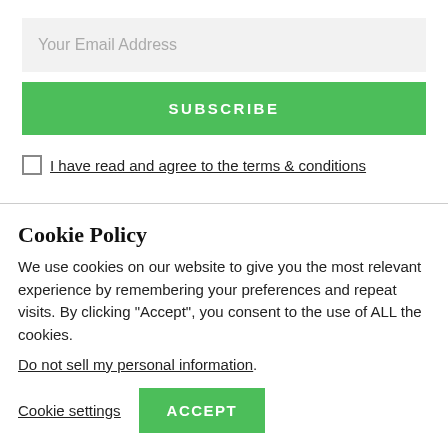Your Email Address
SUBSCRIBE
I have read and agree to the terms & conditions
Cookie Policy
We use cookies on our website to give you the most relevant experience by remembering your preferences and repeat visits. By clicking “Accept”, you consent to the use of ALL the cookies.
Do not sell my personal information.
Cookie settings
ACCEPT